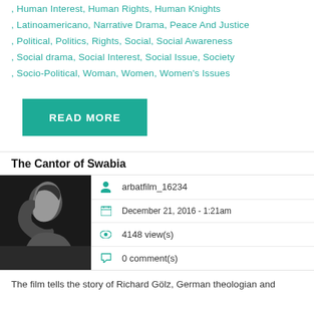, Human Interest, Human Rights, Human Knights , Latinoamericano, Narrative Drama, Peace And Justice , Political, Politics, Rights, Social, Social Awareness , Social drama, Social Interest, Social Issue, Society , Socio-Political, Woman, Women, Women's Issues
READ MORE
The Cantor of Swabia
[Figure (photo): Black and white photo of a person in profile view]
arbatfilm_16234
December 21, 2016 - 1:21am
4148 view(s)
0 comment(s)
The film tells the story of Richard Gölz, German theologian and